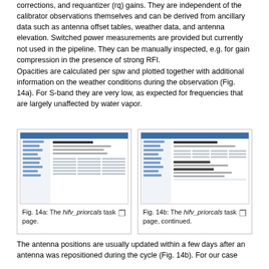corrections, and requantizer (rq) gains. They are independent of the calibrator observations themselves and can be derived from ancillary data such as antenna offset tables, weather data, and antenna elevation. Switched power measurements are provided but currently not used in the pipeline. They can be manually inspected, e.g. for gain compression in the presence of strong RFI.
Opacities are calculated per spw and plotted together with additional information on the weather conditions during the observation (Fig. 14a). For S-band they are very low, as expected for frequencies that are largely unaffected by water vapor.
[Figure (screenshot): Screenshot of the hifv_priorcals task page in a pipeline weblog, showing prior calibrations section with sidebar navigation and content area with tables.]
Fig. 14a: The hifv_priorcals task page.
[Figure (screenshot): Screenshot of the hifv_priorcals task page continued, showing antenna positions, bandpass gains, switched power ratio sections with sidebar navigation.]
Fig. 14b: The hifv_priorcals task page, continued.
The antenna positions are usually updated within a few days after an antenna was repositioned during the cycle (Fig. 14b). For our case